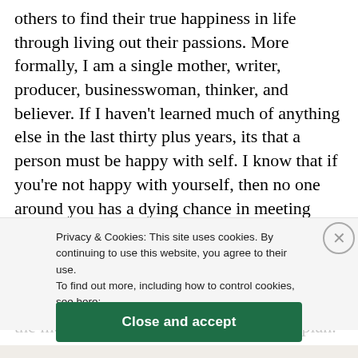others to find their true happiness in life through living out their passions. More formally, I am a single mother, writer, producer, businesswoman, thinker, and believer. If I haven't learned much of anything else in the last thirty plus years, its that a person must be happy with self. I know that if you're not happy with yourself, then no one around you has a dying chance in meeting your expectations or positively affecting your life. I hope this blog reaches tons of people desiring to better
themselves through what makes them happy the most! That's my purpose. That is my plan. View more posts
Privacy & Cookies: This site uses cookies. By continuing to use this website, you agree to their use.
To find out more, including how to control cookies, see here:
Cookie Policy
Close and accept